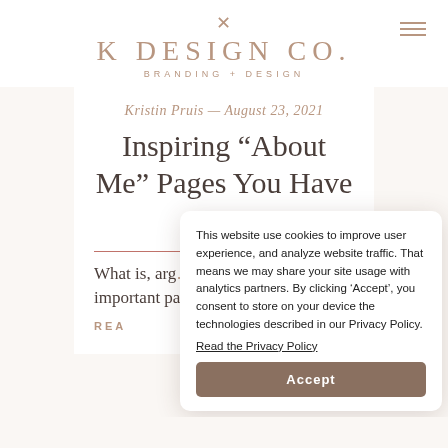K DESIGN CO. BRANDING + DESIGN
Kristin Pruis — August 23, 2021
Inspiring “About Me” Pages You Have to See
What is, arg... important pa...
REA...
This website use cookies to improve user experience, and analyze website traffic. That means we may share your site usage with analytics partners. By clicking ‘Accept’, you consent to store on your device the technologies described in our Privacy Policy. Read the Privacy Policy